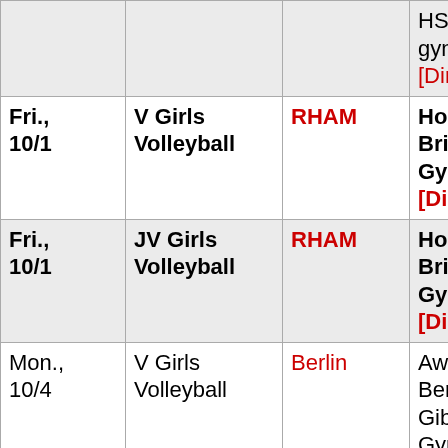| Date | Event | Opponent | Location |
| --- | --- | --- | --- |
|  |  |  | HS-Ma gymna [Direct |
| Fri., 10/1 | V Girls Volleyball | RHAM | Home Britain Gym [Direct |
| Fri., 10/1 | JV Girls Volleyball | RHAM | Home Britain Gym [Direct |
| Mon., 10/4 | V Girls Volleyball | Berlin | Away - Berlin Gibney Gymna [Di |